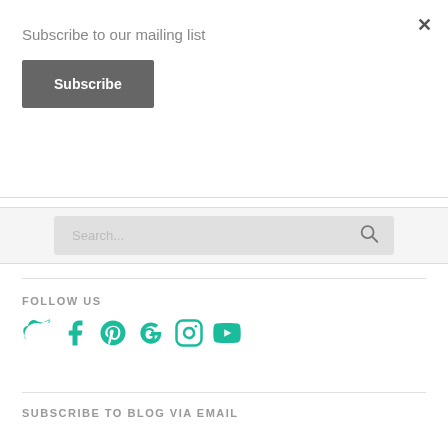Subscribe to our mailing list
Subscribe
Search...
FOLLOW US
[Figure (illustration): Social media icons: Twitter, Facebook, Pinterest, Google, Instagram, YouTube in teal color]
SUBSCRIBE TO BLOG VIA EMAIL